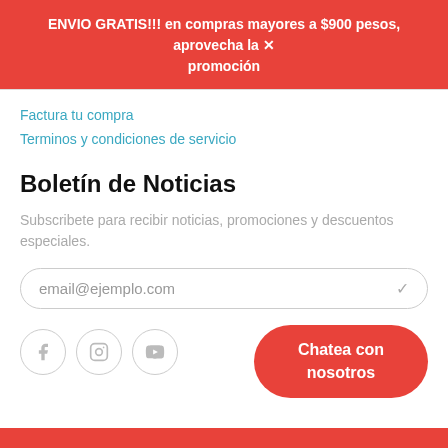ENVIO GRATIS!!! en compras mayores a $900 pesos, aprovecha la X promoción
Factura tu compra
Terminos y condiciones de servicio
Boletín de Noticias
Subscribete para recibir noticias, promociones y descuentos especiales.
email@ejemplo.com
[Figure (illustration): Social media icons: Facebook, Instagram, YouTube in circular outlines]
Chatea con nosotros